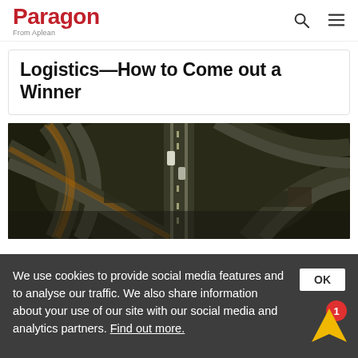Paragon From Aplean
Logistics—How to Come out a Winner
[Figure (photo): Aerial night view of a complex highway interchange with curved ramps, illuminated vehicles and road markings]
We use cookies to provide social media features and to analyse our traffic. We also share information about your use of our site with our social media and analytics partners. Find out more.